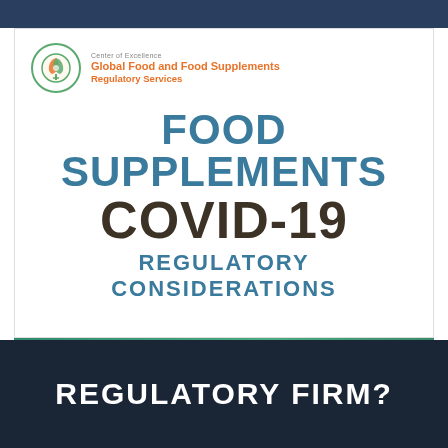[Figure (logo): Center of Excellence Global Food and Food Supplements Regulatory Services logo with green circular emblem]
FOOD SUPPLEMENTS COVID-19 REGULATORY CONSIDERATIONS
[Figure (infographic): Download White Paper button with downward arrow on dark background, set on green gradient section]
REGULATORY FIRM?